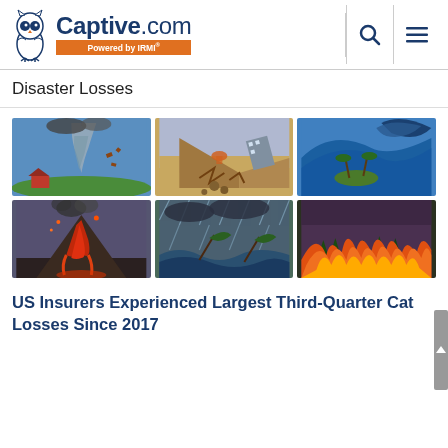Captive.com — Powered by IRMI®
Disaster Losses
[Figure (illustration): Grid of six disaster illustration images: tornado, earthquake/volcano, tsunami, volcanic eruption, hurricane/storm, and wildfire]
US Insurers Experienced Largest Third-Quarter Cat Losses Since 2017